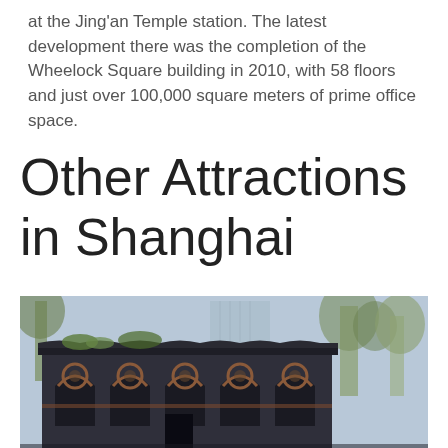at the Jing'an Temple station. The latest development there was the completion of the Wheelock Square building in 2010, with 58 floors and just over 100,000 square meters of prime office space.
Other Attractions in Shanghai
[Figure (photo): Photograph of a historic brick building with ornate arched windows and decorative terracotta details, with a modern glass skyscraper visible in the background and trees flanking the structure.]